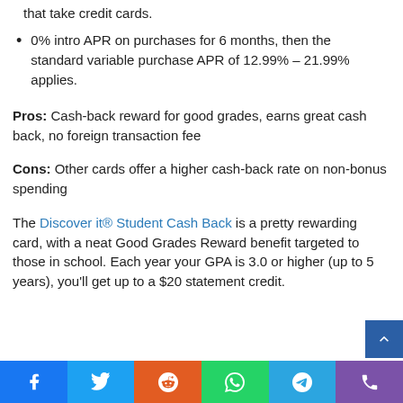that take credit cards.
0% intro APR on purchases for 6 months, then the standard variable purchase APR of 12.99% – 21.99% applies.
Pros: Cash-back reward for good grades, earns great cash back, no foreign transaction fee
Cons: Other cards offer a higher cash-back rate on non-bonus spending
The Discover it® Student Cash Back is a pretty rewarding card, with a neat Good Grades Reward benefit targeted to those in school. Each year your GPA is 3.0 or higher (up to 5 years), you'll get up to a $20 statement credit.